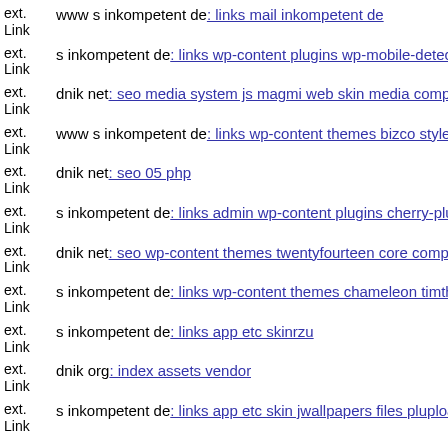ext. Link www s inkompetent de: links mail inkompetent de
ext. Link s inkompetent de: links wp-content plugins wp-mobile-detector
ext. Link dnik net: seo media system js magmi web skin media components
ext. Link www s inkompetent de: links wp-content themes bizco style cs
ext. Link dnik net: seo 05 php
ext. Link s inkompetent de: links admin wp-content plugins cherry-plugi
ext. Link dnik net: seo wp-content themes twentyfourteen core compone
ext. Link s inkompetent de: links wp-content themes chameleon timthum
ext. Link s inkompetent de: links app etc skinrzu
ext. Link dnik org: index assets vendor
ext. Link s inkompetent de: links app etc skin jwallpapers files plupload